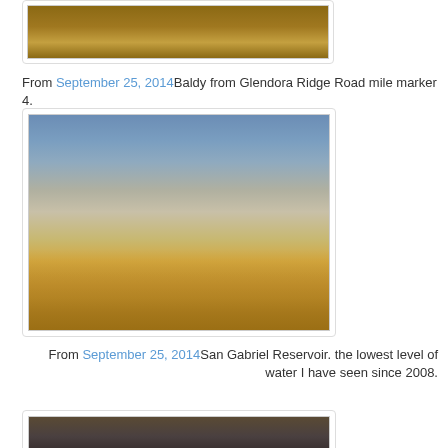[Figure (photo): Partial view of dry brush/grass terrain, top of page (cropped)]
From September 25, 2014Baldy from Glendora Ridge Road mile marker 4.
[Figure (photo): San Gabriel Reservoir at very low water level, surrounded by dry golden grass and rocky hillsides, blue sky visible at top]
From September 25, 2014San Gabriel Reservoir. the lowest level of water I have seen since 2008.
[Figure (photo): Dark rocky terrain with dry shrubs, bottom of page (cropped)]